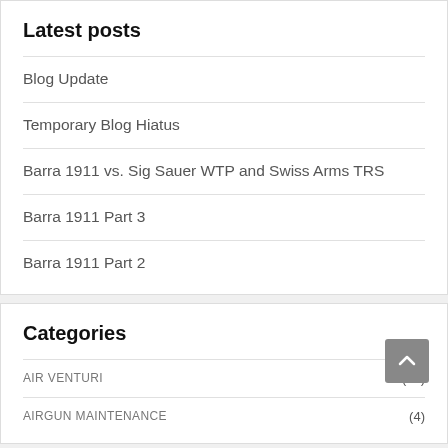Latest posts
Blog Update
Temporary Blog Hiatus
Barra 1911 vs. Sig Sauer WTP and Swiss Arms TRS
Barra 1911 Part 3
Barra 1911 Part 2
Categories
AIR VENTURI (45)
AIRGUN MAINTENANCE (4)